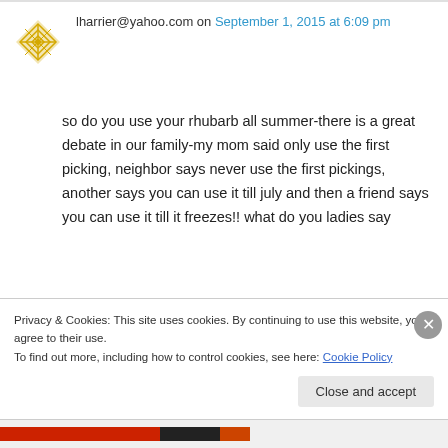lharrier@yahoo.com on September 1, 2015 at 6:09 pm
so do you use your rhubarb all summer-there is a great debate in our family-my mom said only use the first picking, neighbor says never use the first pickings, another says you can use it till july and then a friend says you can use it till it freezes!! what do you ladies say
Sent from Windows Mail
Privacy & Cookies: This site uses cookies. By continuing to use this website, you agree to their use.
To find out more, including how to control cookies, see here: Cookie Policy